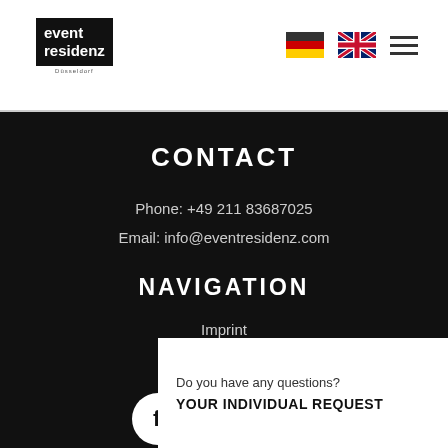event residenz [logo] — language flags and menu icon
CONTACT
Phone: +49 211 83687025
Email: info@eventresidenz.com
NAVIGATION
Imprint
Privacy Policy
[Figure (illustration): Social media icons: Facebook, Instagram, LinkedIn in white circles on dark background]
Do you have any questions?
YOUR INDIVIDUAL REQUEST